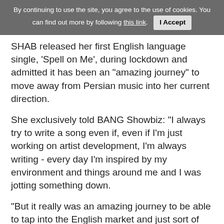By continuing to use the site, you agree to the use of cookies. You can find out more by following this link. I Accept
SHAB released her first English language single, ‘Spell on Me’, during lockdown and admitted it has been an “amazing journey” to move away from Persian music into her current direction.
She exclusively told BANG Showbiz: “I always try to write a song even if, even if I'm just working on artist development, I'm always writing - every day I'm inspired by my environment and things around me and I was jotting something down.
“But it really was an amazing journey to be able to tap into the English market and just sort of like bringing my ideas bring them to life.
“Recording the songs in a studio and like six months, eight months later, doing the music video which is